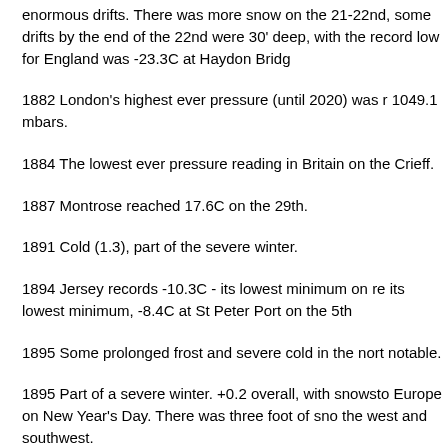enormous drifts. There was more snow on the 21-22nd, some drifts by the end of the 22nd were 30' deep, with the record low for England was -23.3C at Haydon Bridg...
1882 London's highest ever pressure (until 2020) was r... 1049.1 mbars.
1884 The lowest ever pressure reading in Britain on the... Crieff.
1887 Montrose reached 17.6C on the 29th.
1891 Cold (1.3), part of the severe winter.
1894 Jersey records -10.3C - its lowest minimum on re... its lowest minimum, -8.4C at St Peter Port on the 5th
1895 Some prolonged frost and severe cold in the north... notable.
1895 Part of a severe winter. +0.2 overall, with snowsto... Europe on New Year's Day. There was three foot of sno... the west and southwest.